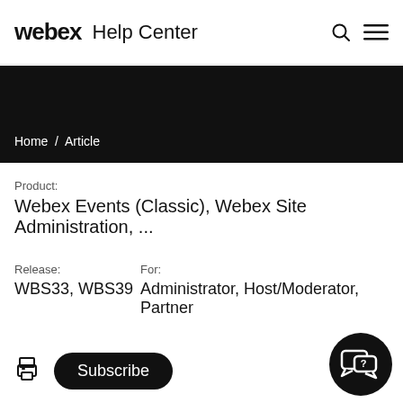webex Help Center
Home / Article
Product:
Webex Events (Classic), Webex Site Administration, ...
Release: WBS33, WBS39
For: Administrator, Host/Moderator, Partner
Subscribe